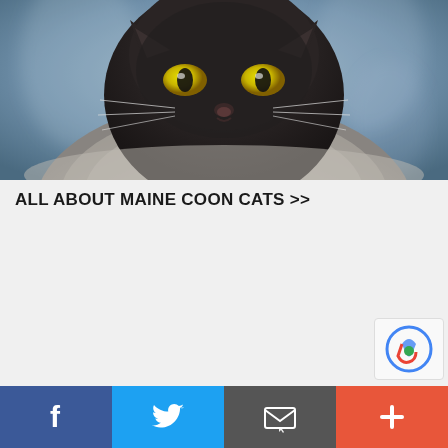[Figure (photo): Close-up portrait of a large fluffy dark Maine Coon cat with bright yellow-green eyes, set against a smoky blue-grey background. The cat has very thick grey and dark fur with a prominent mane.]
ALL ABOUT MAINE COON CATS >>
[Figure (other): reCAPTCHA widget badge in lower right corner]
[Figure (infographic): Social sharing bar with four buttons: Facebook (blue), Twitter (light blue), Email (dark grey), More/Plus (red-orange)]